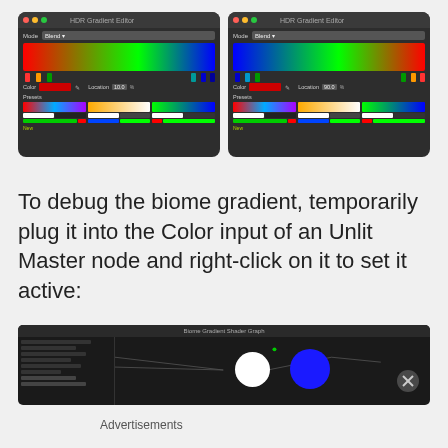[Figure (screenshot): Two HDR Gradient Editor windows side by side. Left shows red-green-blue gradient with Location 10.0, right shows blue-green-red gradient with Location 90.0. Both show Blend mode and Presets panel.]
To debug the biome gradient, temporarily plug it into the Color input of an Unlit Master node and right-click on it to set it active:
[Figure (screenshot): Shader graph editor showing nodes with a white circle and blue circle visible in the preview, on dark background.]
Advertisements